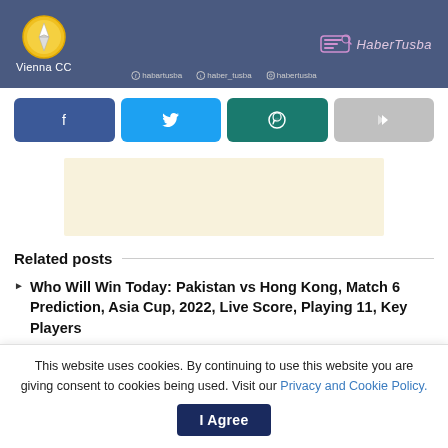[Figure (screenshot): HaberTusba website header banner with Vienna CC logo, site name, and social media handles (habertusba, haber_tusba, habertusba). HaberTusba branding logo on right.]
[Figure (infographic): Four social share buttons: Facebook (blue), Twitter (light blue), WhatsApp (dark teal), and a forward/share button (grey).]
[Figure (other): Advertisement placeholder box with light cream/yellow background.]
Related posts
Who Will Win Today: Pakistan vs Hong Kong, Match 6 Prediction, Asia Cup, 2022, Live Score, Playing 11, Key Players
This website uses cookies. By continuing to use this website you are giving consent to cookies being used. Visit our Privacy and Cookie Policy.